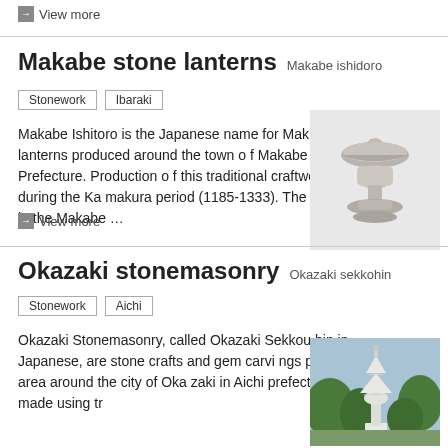→ View more
Makabe stone lanterns  Makabe ishidoro
Stonework  Ibaraki
Makabe Ishitoro is the Japanese name for Makabe stone lanterns produced around the town of Makabe in the Ibaraki Prefecture. Production of this traditional craftwork started during the Kamakura period (1185-1333). The stone industry in the Makabe …
[Figure (photo): A stone lantern (Makabe ishidoro) — grey stone lantern with rounded cap and base, on white background]
→ View more
Okazaki stonemasonry  Okazaki sekkohin
Stonework  Aichi
Okazaki Stonemasonry, called Okazaki Sekkohin in Japanese, are stone crafts and gem carvings produced in the area around the city of Okazaki in Aichi prefecture. They are made using tr
[Figure (photo): Photo of a white stone lantern/pagoda structure outdoors with trees in background]